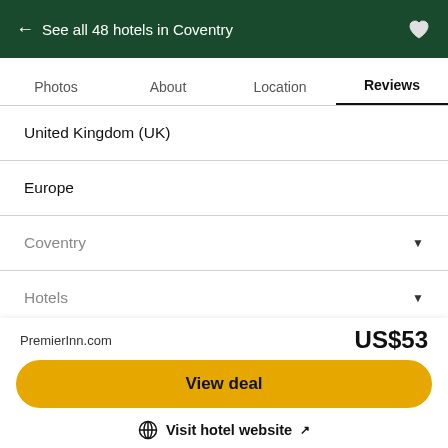← See all 48 hotels in Coventry
Photos
About
Location
Reviews
United Kingdom (UK)
Europe
Coventry
Hotels
Flights
Holiday Rentals
Restaurants
PremierInn.com
US$53
View deal
Visit hotel website